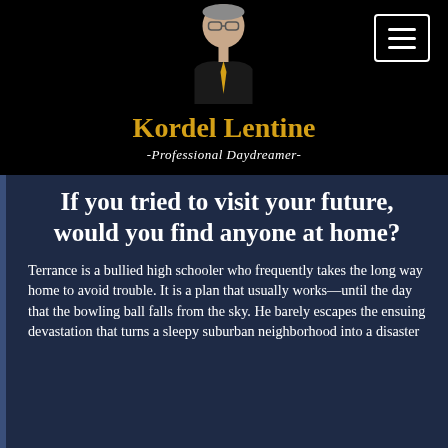[Figure (photo): Headshot of Kordel Lentine, a man with glasses wearing a black jacket and gold tie, against a black background. A menu button (hamburger icon) appears in the top right corner.]
Kordel Lentine
-Professional Daydreamer-
If you tried to visit your future, would you find anyone at home?
Terrance is a bullied high schooler who frequently takes the long way home to avoid trouble. It is a plan that usually works—until the day that the bowling ball falls from the sky. He barely escapes the ensuing devastation that turns a sleepy suburban neighborhood into a disaster